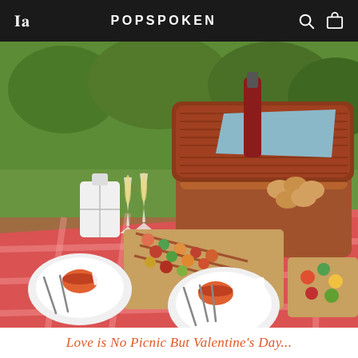WM | POPSPOKEN
[Figure (photo): Outdoor picnic scene on a red and white checked blanket with an open wicker basket, food skewers on a wooden cutting board, two champagne flutes, a white lantern, plates with cutlery, and various food items arranged on grass.]
Love is No Picnic But Valentine's Day...